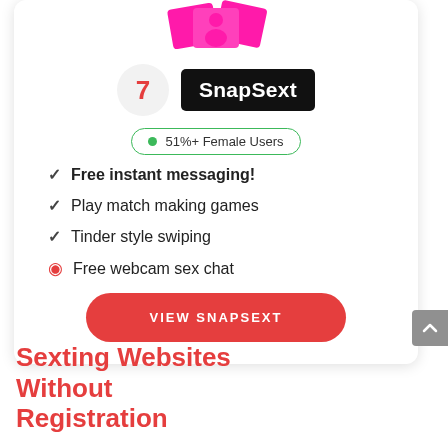[Figure (logo): SnapSext logo card with rank 7, pink photo cards above, and green badge showing 51%+ Female Users]
Free instant messaging!
Play match making games
Tinder style swiping
Free webcam sex chat
VIEW SNAPSEXT
Sexting Websites Without Registration